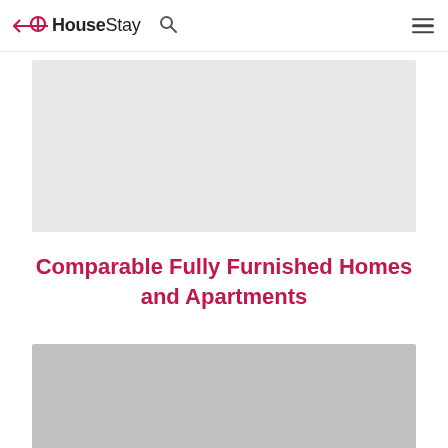HouseStay
[Figure (photo): Light gray image placeholder rectangle]
Comparable Fully Furnished Homes and Apartments
[Figure (photo): Medium gray image placeholder rectangle]